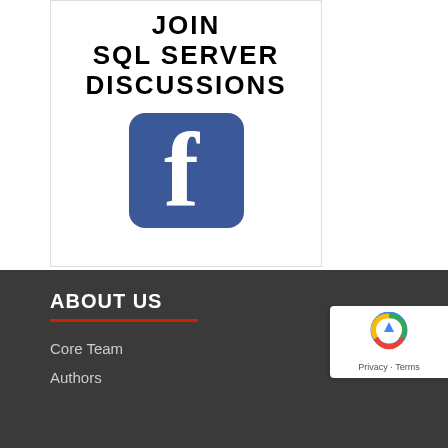[Figure (illustration): A bordered box with text 'JOIN SQL SERVER DISCUSSIONS' in bold uppercase letters and a Facebook icon below the text.]
ABOUT US
Core Team
Authors
[Figure (other): reCAPTCHA badge with Privacy - Terms text]